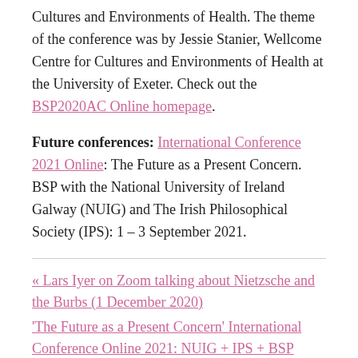Cultures and Environments of Health. The theme of the conference was by Jessie Stanier, Wellcome Centre for Cultures and Environments of Health at the University of Exeter. Check out the BSP2020AC Online homepage.
Future conferences: International Conference 2021 Online: The Future as a Present Concern. BSP with the National University of Ireland Galway (NUIG) and The Irish Philosophical Society (IPS): 1 – 3 September 2021.
« Lars Iyer on Zoom talking about Nietzsche and the Burbs (1 December 2020)
'The Future as a Present Concern' International Conference Online 2021: NUIG + IPS + BSP